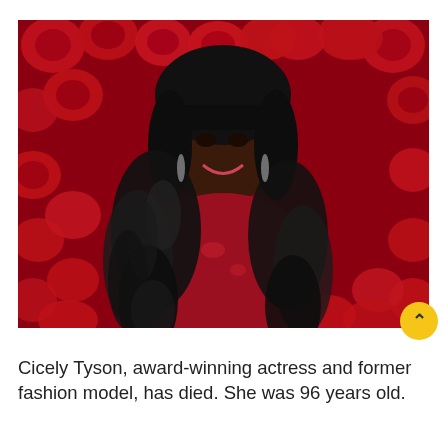[Figure (photo): Cicely Tyson wearing a red dress with black feather trim, standing in front of a wall of red roses, smiling at the camera. She has a black bob hairstyle with bangs and is wearing dangling earrings.]
Cicely Tyson, award-winning actress and former fashion model, has died. She was 96 years old.